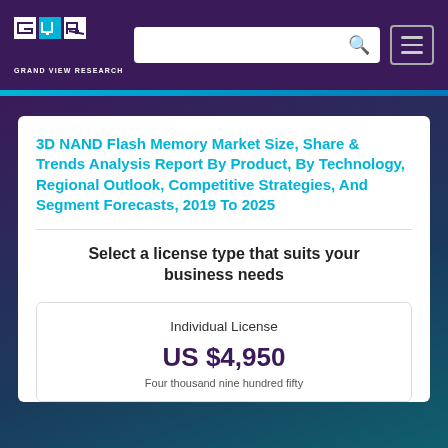Grand View Research
3D NAND Flash Memory Market Size, Share & Trends Analysis Report By Product, By Technology, Regional Outlook, Competitive Strategies, And Segment Forecasts, 2019 To 2025
Select a license type that suits your business needs
Individual License
US $4,950
Four thousand nine hundred fifty